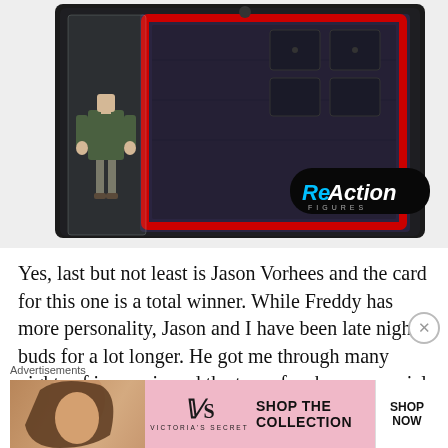[Figure (photo): ReAction Figures action figure packaging — Jason Vorhees figure in blister pack against black card with red border and ReAction Figures logo]
Yes, last but not least is Jason Vorhees and the card for this one is a total winner. While Freddy has more personality, Jason and I have been late night buds for a lot longer. He got me through many nights of insomnia and the two of us have a special bond. The still shot of Jason
Advertisements
[Figure (screenshot): Victoria's Secret advertisement banner: model photo on left, VS logo in center, SHOP THE COLLECTION text, SHOP NOW button on right]